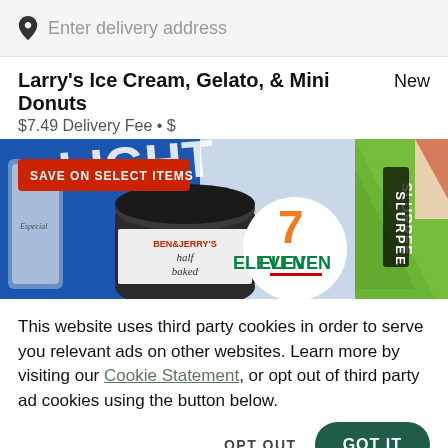Enter delivery address
Larry's Ice Cream, Gelato, & Mini Donuts
New
$7.49 Delivery Fee • $
[Figure (photo): Promotional banner showing various products including Bud Light beer, Ben & Jerry's Half Baked ice cream, 7-Eleven logo, Slurpee cup, and pizza with a red 'SAVE ON SELECT ITEMS' badge overlay.]
This website uses third party cookies in order to serve you relevant ads on other websites. Learn more by visiting our Cookie Statement, or opt out of third party ad cookies using the button below.
OPT OUT
GOT IT